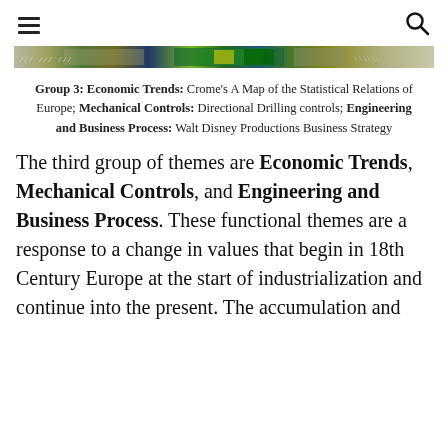[Figure (photo): Horizontal strip image showing a colorful map or document collage with green, blue and yellow tones]
Group 3: Economic Trends: Crome's A Map of the Statistical Relations of Europe; Mechanical Controls: Directional Drilling controls; Engineering and Business Process: Walt Disney Productions Business Strategy
The third group of themes are Economic Trends, Mechanical Controls, and Engineering and Business Process. These functional themes are a response to a change in values that begin in 18th Century Europe at the start of industrialization and continue into the present. The accumulation and standardization of quantitative data...